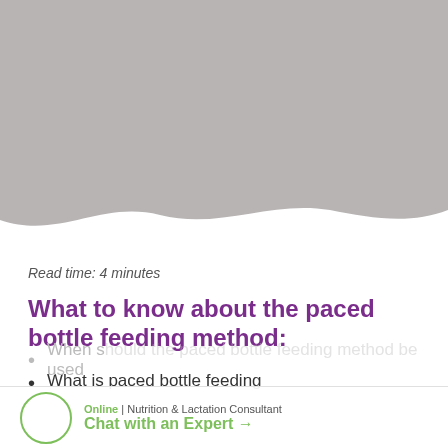[Figure (illustration): Gray background area at top of page with a wavy white bottom edge, suggesting a decorative header image area]
Read time: 4 minutes
What to know about the paced bottle feeding method:
What is paced bottle feeding
When should the paced bottle feeding method be used
Online | Nutrition & Lactation Consultant
Chat with an Expert →